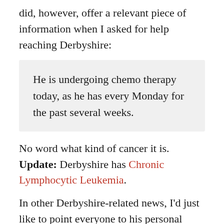did, however, offer a relevant piece of information when I asked for help reaching Derbyshire:
He is undergoing chemo therapy today, as he has every Monday for the past several weeks.
No word what kind of cancer it is. Update: Derbyshire has Chronic Lymphocytic Leukemia.
In other Derbyshire-related news, I'd just like to point everyone to his personal website where Derbyshire reveals scientific results providing that he has "a strong automatic preference for European American compared to African American" and very little prejudice against Asian Americans.